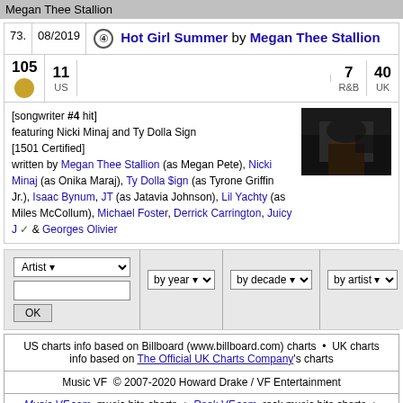Megan Thee Stallion
| 73. | 08/2019 | ④ Hot Girl Summer by Megan Thee Stallion |
| 105 [gold] | 11 US | | 7 R&B | 40 UK |  |  |
[songwriter #4 hit]
featuring Nicki Minaj and Ty Dolla Sign
[1501 Certified]
written by Megan Thee Stallion (as Megan Pete), Nicki Minaj (as Onika Maraj), Ty Dolla $ign (as Tyrone Griffin Jr.), Isaac Bynum, JT (as Jatavia Johnson), Lil Yachty (as Miles McCollum), Michael Foster, Derrick Carrington, Juicy J ✓ & Georges Olivier
[Figure (photo): Thumbnail photo of Megan Thee Stallion]
| Artist (dropdown) | by year (dropdown) | by decade (dropdown) | by artist (dropdown) | Contact us / Facebook I like MVF |
| --- | --- | --- | --- | --- |
US charts info based on Billboard (www.billboard.com) charts  •  UK charts info based on The Official UK Charts Company's charts
Music VF  © 2007-2020 Howard Drake / VF Entertainment
Music VF.com, music hits charts  •  Rock VF.com, rock music hits charts  •  Music VF.fr, tous les tubes  •  Comics VF.com